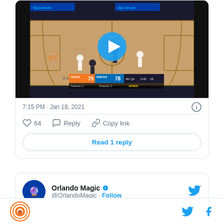[Figure (screenshot): Basketball game video thumbnail showing NBA game between Magic and Knicks at Madison Square Garden with scoreboard showing Magic 75, Knicks 78, 4th Qtr, 3:45, 18. Play button overlay visible.]
7:15 PM · Jan 18, 2021
64  Reply  Copy link
Read 1 reply
Orlando Magic @OrlandoMagic · Follow
Twitter and Facebook icons with Orlando logo